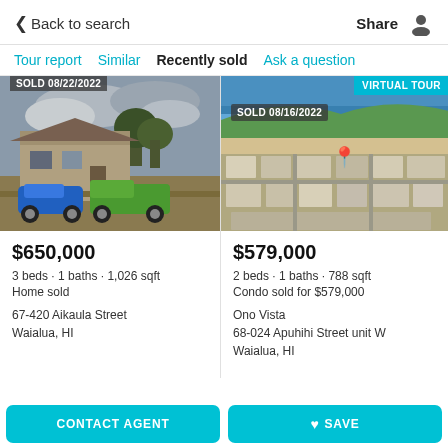Back to search  Share
Tour report  Similar  Recently sold  Ask a question
[Figure (photo): House with blue car and green truck parked in front, cloudy sky, SOLD 08/22/2022 badge]
$650,000
3 beds · 1 baths · 1,026 sqft
Home sold
67-420 Aikaula Street
Waialua, HI
[Figure (photo): Aerial view of coastal neighborhood with ocean, SOLD 08/16/2022 badge, red map pin]
$579,000
2 beds · 1 baths · 788 sqft
Condo sold for $579,000
Ono Vista
68-024 Apuhihi Street unit W
Waialua, HI
CONTACT AGENT
♡ SAVE